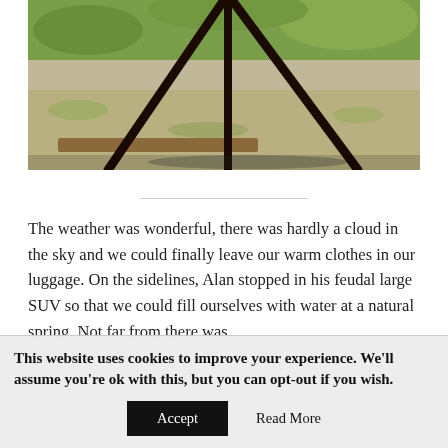[Figure (photo): Outdoor photo showing the base/legs of a metal tripod or sculptural structure on gravel and grass, viewed from ground level. Wooden beam visible beneath the metal legs. Grassy field in background.]
The weather was wonderful, there was hardly a cloud in the sky and we could finally leave our warm clothes in our luggage. On the sidelines, Alan stopped in his feudal large SUV so that we could fill ourselves with water at a natural spring. Not far from there was
This website uses cookies to improve your experience. We'll assume you're ok with this, but you can opt-out if you wish.
Accept   Read More